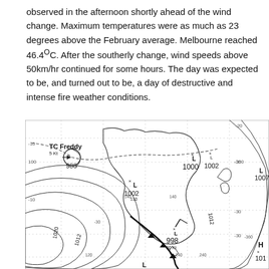observed in the afternoon shortly ahead of the wind change. Maximum temperatures were as much as 23 degrees above the February average. Melbourne reached 46.4°C. After the southerly change, wind speeds above 50km/hr continued for some hours. The day was expected to be, and turned out to be, a day of destructive and intense fire weather conditions.
[Figure (map): Synoptic weather chart showing pressure systems over Australia and surrounding oceans. Features include Tropical Cyclone Freddy (988 hPa, 5 Kt) in northwest, low pressure systems at 1002, 1000, 1002, 1007 hPa, a developing low at 998 hPa (30 Kt), high pressure at 1020 and 1012 hPa contours, cold front indicated by heavy black line, isobars labeled at 120, 140, 240 intervals, and latitude/longitude grid lines.]